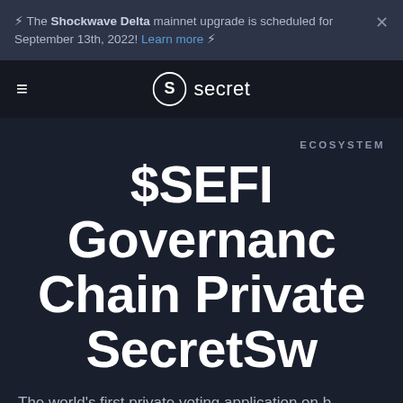⚡︎ The Shockwave Delta mainnet upgrade is scheduled for September 13th, 2022! Learn more ⚡︎
[Figure (logo): Secret Network logo with hamburger menu — circular S logo with 'secret' text]
ECOSYSTEM
$SEFI Governance Chain Private SecretSw
The world's first private voting application on b has launched on mainnet! Learn how $SEFI is